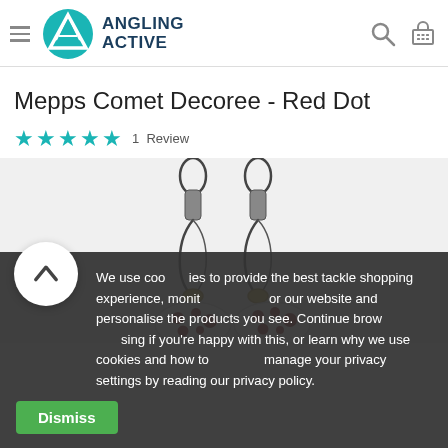Angling Active — navigation header with logo, hamburger menu, search and cart icons
Mepps Comet Decoree - Red Dot
★★★★★  1  Review
[Figure (photo): Close-up product photo of Mepps Comet Decoree Red Dot fishing lure spinners with white body and red dots, showing swivel clips at top]
We use cookies to provide the best tackle shopping experience, monitor our website and personalise the products you see. Continue browsing if you are happy with this, or learn why we use cookies and how to manage your privacy settings by reading our privacy policy.
Dismiss